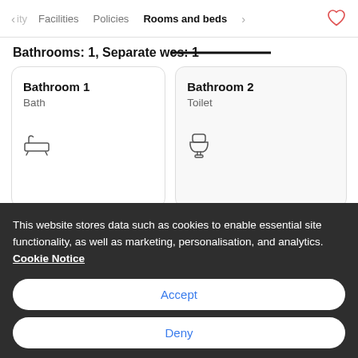< ity   Facilities   Policies   Rooms and beds   >
Bathrooms: 1, Separate wcs: 1
Bathroom 1
Bath
Bathroom 2
Toilet
This website stores data such as cookies to enable essential site functionality, as well as marketing, personalisation, and analytics. Cookie Notice
Accept
Deny